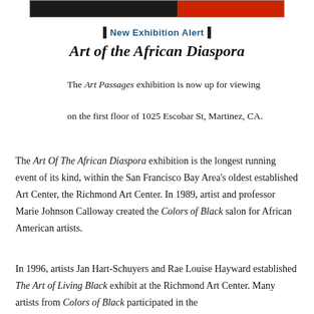[Figure (illustration): Banner image with black and red horizontal color blocks inside a bordered rectangle]
New Exhibition Alert
Art of the African Diaspora
The Art Passages exhibition is now up for viewing on the first floor of 1025 Escobar St, Martinez, CA.
The Art Of The African Diaspora exhibition is the longest running event of its kind, within the San Francisco Bay Area's oldest established Art Center, the Richmond Art Center. In 1989, artist and professor Marie Johnson Calloway created the Colors of Black salon for African American artists.
In 1996, artists Jan Hart-Schuyers and Rae Louise Hayward established The Art of Living Black exhibit at the Richmond Art Center. Many artists from Colors of Black participated in the